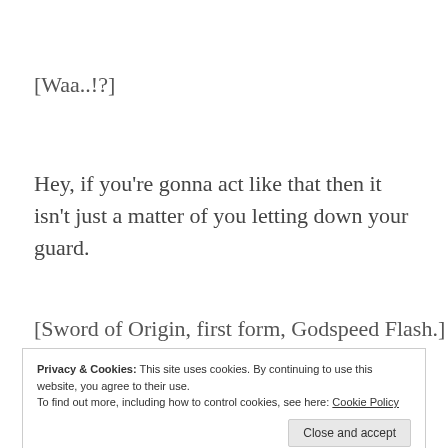[Waa..!?]
Hey, if you're gonna act like that then it isn't just a matter of you letting down your guard.
[Sword of Origin, first form, Godspeed Flash.]
Privacy & Cookies: This site uses cookies. By continuing to use this website, you agree to their use.
To find out more, including how to control cookies, see here: Cookie Policy
Close and accept